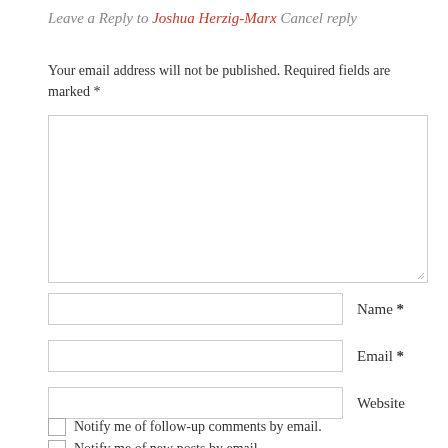Leave a Reply to Joshua Herzig-Marx Cancel reply
Your email address will not be published. Required fields are marked *
[Figure (screenshot): A large empty comment textarea input box with a resize handle in the bottom-right corner]
Name *
Email *
Website
Notify me of follow-up comments by email.
Notify me of new posts by email.